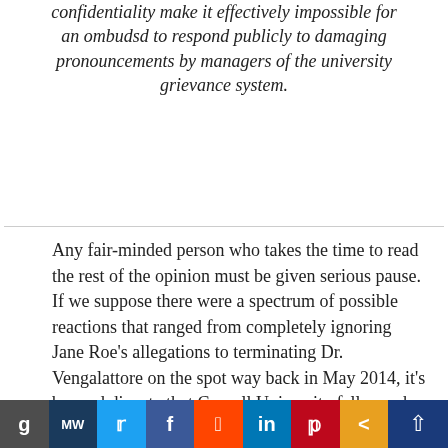confidentiality make it effectively impossible for an ombudsd to respond publicly to damaging pronouncements by managers of the university grievance system.
Any fair-minded person who takes the time to read the rest of the opinion must be given serious pause. If we suppose there were a spectrum of possible reactions that ranged from completely ignoring Jane Roe's allegations to terminating Dr. Vengalattore on the spot way back in May 2014, it's beyond dispute that Cornell University falls much closer to one end of that spectrum than the other. Almost every right that most people would
[Figure (other): Social media sharing bar with buttons for Gab, MeWe, Twitter, Facebook, Reddit, LinkedIn, Pinterest, and share. An up-arrow scroll button is also present.]